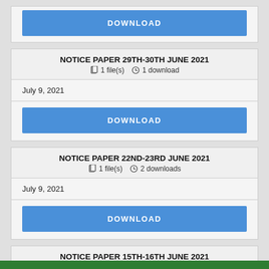[Figure (screenshot): Download button (partial top card)]
NOTICE PAPER 29TH-30TH JUNE 2021
1 file(s)  1 download
July 9, 2021
[Figure (screenshot): DOWNLOAD button for Notice Paper 29th-30th June 2021]
NOTICE PAPER 22ND-23RD JUNE 2021
1 file(s)  2 downloads
July 9, 2021
[Figure (screenshot): DOWNLOAD button for Notice Paper 22nd-23rd June 2021]
NOTICE PAPER 15TH-16TH JUNE 2021